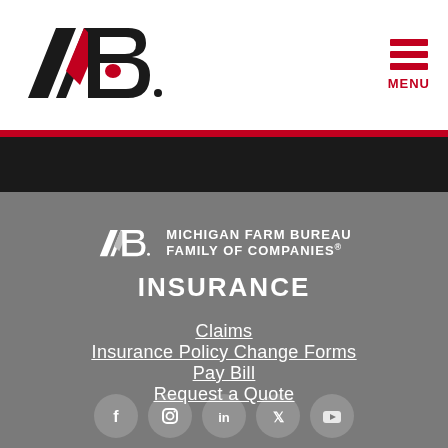[Figure (logo): Michigan Farm Bureau logo (FB stylized letters in black and red) in the page header]
[Figure (other): Red hamburger menu icon with MENU text label in top right]
[Figure (logo): Michigan Farm Bureau Family of Companies white logo with FB mark and text]
INSURANCE
Claims
Insurance Policy Change Forms
Pay Bill
Request a Quote
[Figure (other): Row of social media icons: Facebook, Instagram, LinkedIn, Twitter/X, YouTube]